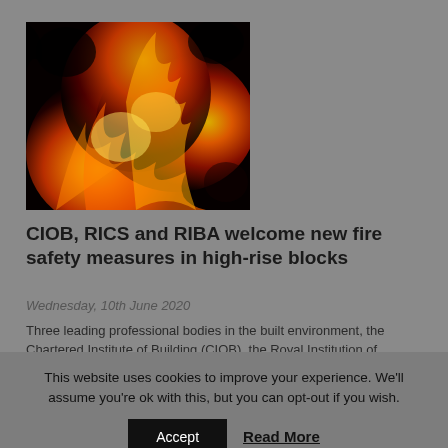[Figure (photo): Close-up photograph of fire flames with orange, yellow and black tones]
CIOB, RICS and RIBA welcome new fire safety measures in high-rise blocks
Wednesday, 10th June 2020
Three leading professional bodies in the built environment, the Chartered Institute of Building (CIOB), the Royal Institution of Chartered Surveyors (RICS) and the Royal Institute of British Architects (RIBA) have jointly welcomed new measures from the Government which will ensure...
View Article
This website uses cookies to improve your experience. We'll assume you're ok with this, but you can opt-out if you wish.
Accept
Read More